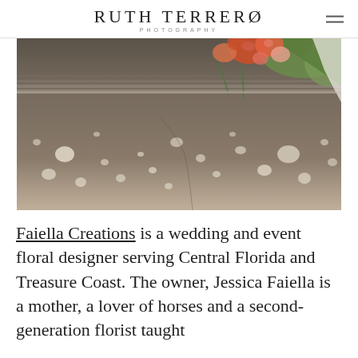RUTH TERRERO PHOTOGRAPHY
[Figure (photo): Close-up photograph of floral arrangement with orange and pink flowers on a weathered stone or concrete surface with white speckles/lichen, green foliage visible in background.]
Faiella Creations is a wedding and event floral designer serving Central Florida and Treasure Coast. The owner, Jessica Faiella is a mother, a lover of horses and a second-generation florist taught